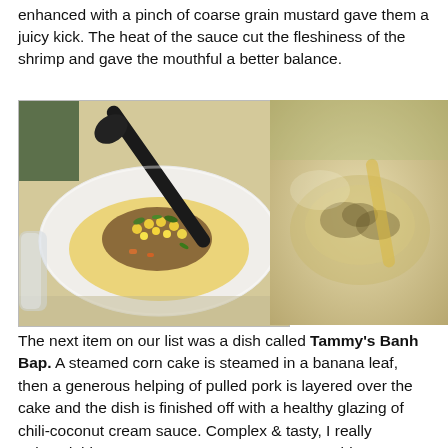enhanced with a pinch of coarse grain mustard gave them a juicy kick.  The heat of the sauce cut the fleshiness of the shrimp and gave the mouthful a better balance.
[Figure (photo): Two food photos side by side: left shows a plated dish with corn and greens on a white plate with a black spoon; right shows a blurred background image of food in a bowl.]
The next item on our list was a dish called Tammy's Banh Bap.  A steamed corn cake is steamed in a banana leaf, then a generous helping of pulled pork is layered over the cake and the dish is finished off with a healthy glazing of chili-coconut cream sauce.  Complex & tasty, I really enjoyed this one.  I can't seem to say no to anything corn, and don't get me started on juicy barbecued pork.  The corncake was sweet, and --- oddly enough --- it had a consistency a bit like rice pilaf.  The starchiness of the cake formed a moist, absorbant base for liquid coating the strands of pork atop it.  The meat was well-seasoned, savory and juicy, it's smoky flavor resonating with hints of black and maybe a bit of red